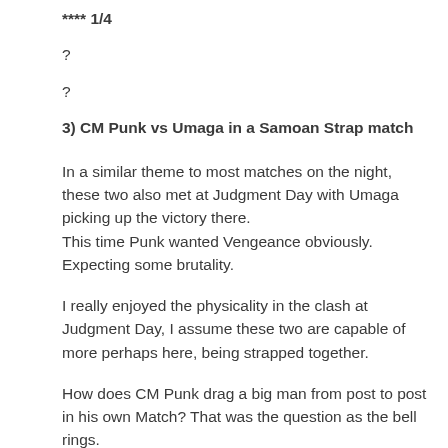**** 1/4
?
?
3) CM Punk vs Umaga in a Samoan Strap match
In a similar theme to most matches on the night, these two also met at Judgment Day with Umaga picking up the victory there.
This time Punk wanted Vengeance obviously. Expecting some brutality.
I really enjoyed the physicality in the clash at Judgment Day, I assume these two are capable of more perhaps here, being strapped together.
How does CM Punk drag a big man from post to post in his own Match? That was the question as the bell rings.
We get a nice addition with a scoreboard in the top right.